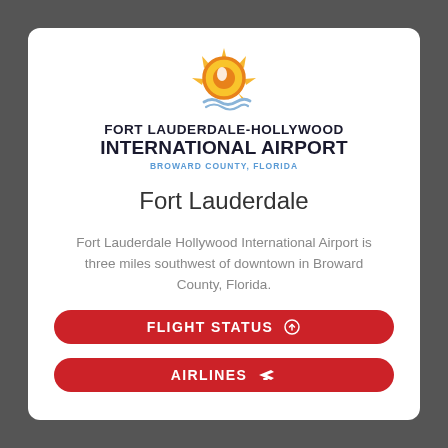[Figure (logo): Fort Lauderdale-Hollywood International Airport logo with sun and wave graphic]
Fort Lauderdale
Fort Lauderdale Hollywood International Airport is three miles southwest of downtown in Broward County, Florida.
FLIGHT STATUS
AIRLINES